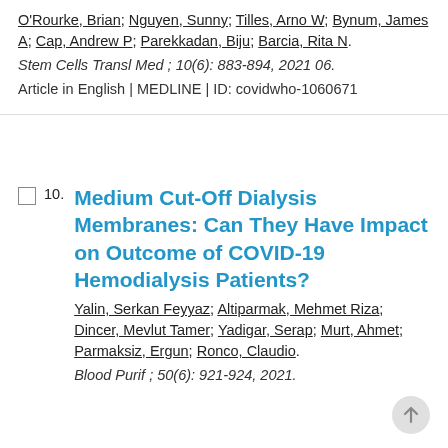O'Rourke, Brian; Nguyen, Sunny; Tilles, Arno W; Bynum, James A; Cap, Andrew P; Parekkadan, Biju; Barcia, Rita N.
Stem Cells Transl Med ; 10(6): 883-894, 2021 06.
Article in English | MEDLINE | ID: covidwho-1060671
Medium Cut-Off Dialysis Membranes: Can They Have Impact on Outcome of COVID-19 Hemodialysis Patients?
Yalin, Serkan Feyyaz; Altiparmak, Mehmet Riza; Dincer, Mevlut Tamer; Yadigar, Serap; Murt, Ahmet; Parmaksiz, Ergun; Ronco, Claudio.
Blood Purif ; 50(6): 921-924, 2021.